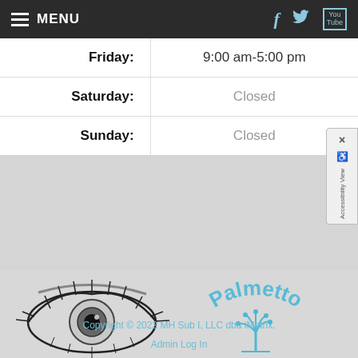MENU
| Day | Hours |
| --- | --- |
| Friday: | 9:00 am-5:00 pm |
| Saturday: | Closed |
| Sunday: | Closed |
[Figure (logo): Eye illustration — black and white sketch of an eye with lashes]
[Figure (logo): Palmetto Eye Care logo — blue text arched above a palm tree icon with 'Eye Care' below]
Copyright © 2022 MH Sub I, LLC dba iMatrix.
Admin Log In